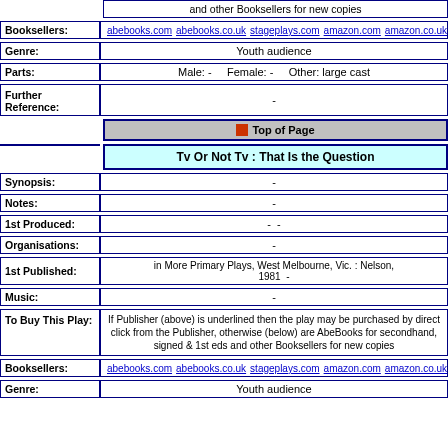and other Booksellers for new copies
| Booksellers: | Links |
| --- | --- |
| Booksellers: | abebooks.com  abebooks.co.uk  stageplays.com  amazon.com  amazon.co.uk  am... |
| Genre: | Value |
| --- | --- |
| Genre: | Youth audience |
| Parts: | Value |
| --- | --- |
| Parts: | Male: -   Female: -   Other: large cast |
| Further Reference: | Value |
| --- | --- |
| Further Reference: | - |
Top of Page
Tv Or Not Tv : That Is the Question
| Synopsis: | Value |
| --- | --- |
| Synopsis: | - |
| Notes: | Value |
| --- | --- |
| Notes: | - |
| 1st Produced: | Value |
| --- | --- |
| 1st Produced: | - - |
| Organisations: | Value |
| --- | --- |
| Organisations: | - |
| 1st Published: | Value |
| --- | --- |
| 1st Published: | in More Primary Plays, West Melbourne, Vic. : Nelson, 1981  - |
| Music: | Value |
| --- | --- |
| Music: | - |
| To Buy This Play: | Value |
| --- | --- |
| To Buy This Play: | If Publisher (above) is underlined then the play may be purchased by direct click from the Publisher, otherwise (below) are AbeBooks for secondhand, signed & 1st eds and other Booksellers for new copies |
| Booksellers: | Links |
| --- | --- |
| Booksellers: | abebooks.com  abebooks.co.uk  stageplays.com  amazon.com  amazon.co.uk  am... |
| Genre: | Value |
| --- | --- |
| Genre: | Youth audience |